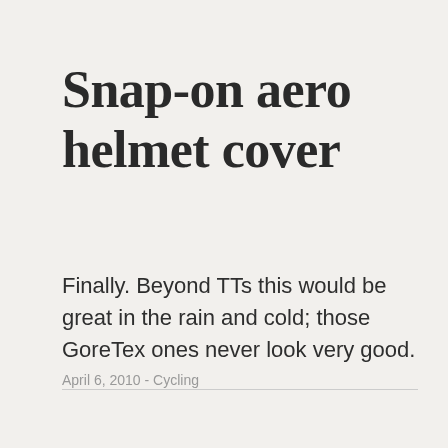Snap-on aero helmet cover
Finally. Beyond TTs this would be great in the rain and cold; those GoreTex ones never look very good.
April 6, 2010 - Cycling